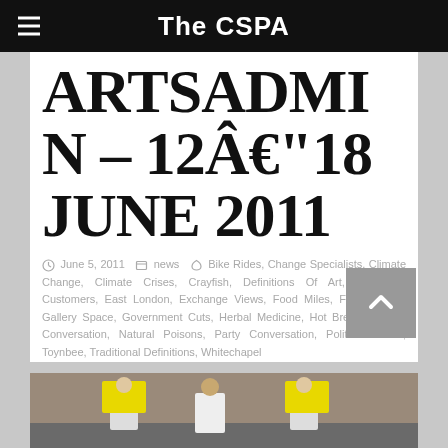The CSPA
ARTSADMIN – 12Â€"18 JUNE 2011
June 5, 2011  news  Bike Rides, Change Specialists, Climate Change, Climate Crises, Crayfish, Definitions Of Art, Difference Customers, East London, Exchange Views, Food Miles, Free Haircut, Gallery Space, Government Cuts, Herbal Medicine, Hot Breath, Minute Conversation, Natural Poisons, Party Conversation, Political Artists, Toynbee, Traditional Definitions, Whitechapel
[Figure (photo): People holding yellow signs outdoors against a brick wall]